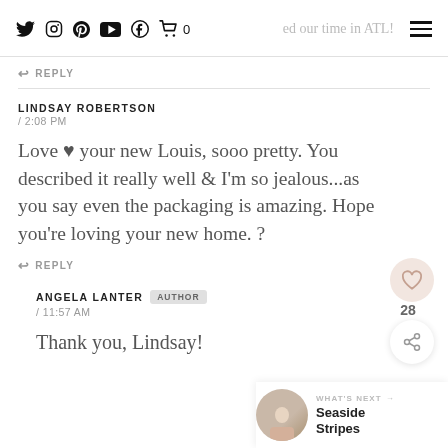Social media icons | ...ed our time in ATL!
↩ REPLY
LINDSAY ROBERTSON / 2:08 PM
Love ♥ your new Louis, sooo pretty. You described it really well & I'm so jealous...as you say even the packaging is amazing. Hope you're loving your new home. ?
↩ REPLY
ANGELA LANTER AUTHOR / 11:57 AM
Thank you, Lindsay!